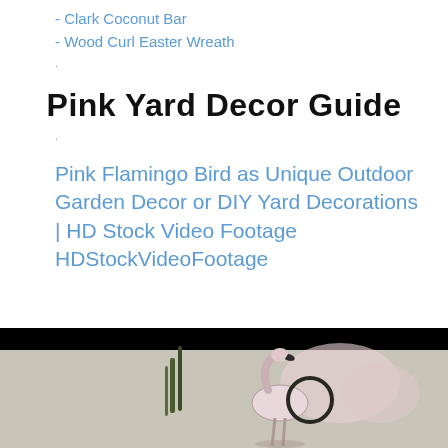- Clark Coconut Bar
- Wood Curl Easter Wreath
Pink Yard Decor Guide
Pink Flamingo Bird as Unique Outdoor Garden Decor or DIY Yard Decorations | HD Stock Video Footage HDStockVideoFootage
[Figure (photo): A pink flamingo bird photograph used as outdoor garden decor, shown against a dark/black background with garden elements.]